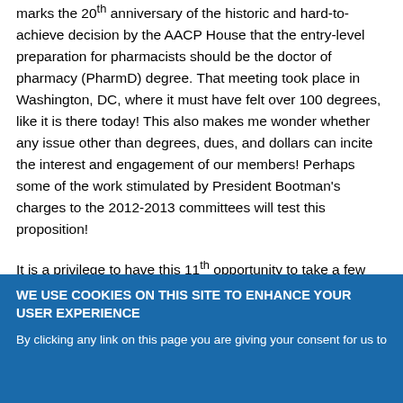marks the 20th anniversary of the historic and hard-to-achieve decision by the AACP House that the entry-level preparation for pharmacists should be the doctor of pharmacy (PharmD) degree. That meeting took place in Washington, DC, where it must have felt over 100 degrees, like it is there today! This also makes me wonder whether any issue other than degrees, dues, and dollars can incite the interest and engagement of our members! Perhaps some of the work stimulated by President Bootman's charges to the 2012-2013 committees will test this proposition!
It is a privilege to have this 11th opportunity to take a few minutes to report to you from the perspective of the chief staff officer of your Association and to reflect on AACP in these times of disruptive innovation and opportunity. That is the theme I am using to frame the...
WE USE COOKIES ON THIS SITE TO ENHANCE YOUR USER EXPERIENCE
By clicking any link on this page you are giving your consent for us to